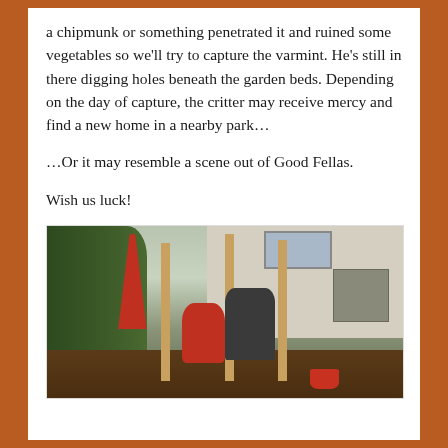a chipmunk or something penetrated it and ruined some vegetables so we'll try to capture the varmint. He's still in there digging holes beneath the garden beds. Depending on the day of capture, the critter may receive mercy and find a new home in a nearby park…
…Or it may resemble a scene out of Good Fellas.
Wish us luck!
[Figure (photo): A backyard garden scene showing a child in a red shirt and an adult working together in a raised garden bed under construction, with wooden posts, a red umbrella/shovel, green trees on the left, house siding in the background, an AC unit on the right, and a red bucket.]